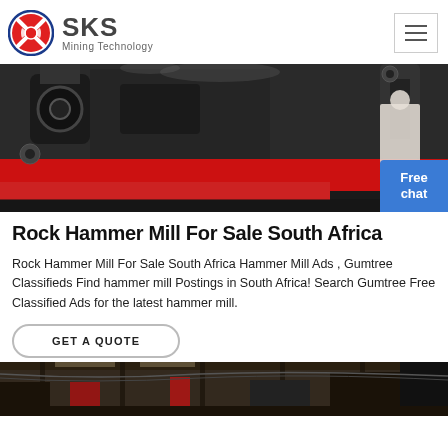[Figure (logo): SKS Mining Technology logo with red circle emblem and company name]
[Figure (photo): Close-up photo of a rock hammer mill machine with red and black metallic parts, and a Free chat badge in the bottom right corner]
Rock Hammer Mill For Sale South Africa
Rock Hammer Mill For Sale South Africa Hammer Mill Ads , Gumtree Classifieds Find hammer mill Postings in South Africa! Search Gumtree Free Classified Ads for the latest hammer mill.
GET A QUOTE
[Figure (photo): Bottom strip showing interior of industrial facility]